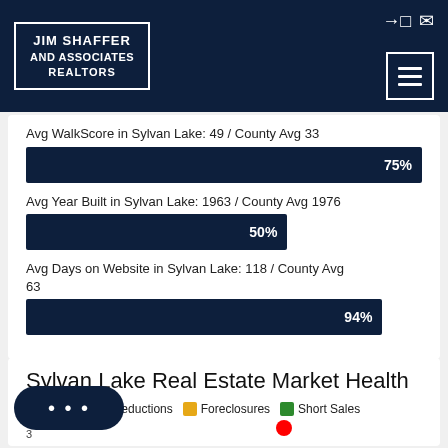JIM SHAFFER AND ASSOCIATES REALTORS
Avg WalkScore in Sylvan Lake: 49 / County Avg 33
[Figure (bar-chart): WalkScore Bar]
Avg Year Built in Sylvan Lake: 1963 / County Avg 1976
[Figure (bar-chart): Year Built Bar]
Avg Days on Website in Sylvan Lake: 118 / County Avg 63
[Figure (bar-chart): Days on Website Bar]
Sylvan Lake Real Estate Market Health
Listings  Reductions  Foreclosures  Short Sales
3